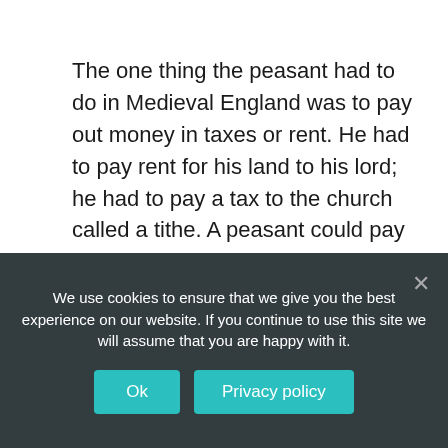The one thing the peasant had to do in Medieval England was to pay out money in taxes or rent. He had to pay rent for his land to his lord; he had to pay a tax to the church called a tithe. A peasant could pay in cash or in kind – seeds, equipment etc.
How much did medieval peasants
We use cookies to ensure that we give you the best experience on our website. If you continue to use this site we will assume that you are happy with it.